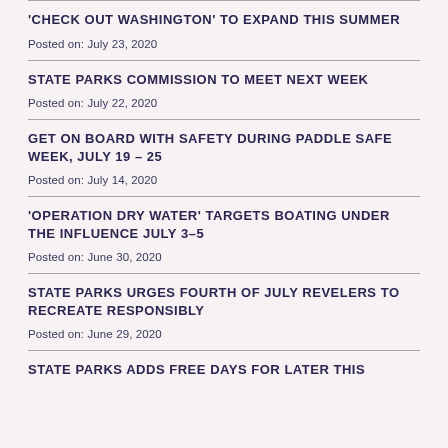'CHECK OUT WASHINGTON' TO EXPAND THIS SUMMER
Posted on: July 23, 2020
STATE PARKS COMMISSION TO MEET NEXT WEEK
Posted on: July 22, 2020
GET ON BOARD WITH SAFETY DURING PADDLE SAFE WEEK, JULY 19 – 25
Posted on: July 14, 2020
'OPERATION DRY WATER' TARGETS BOATING UNDER THE INFLUENCE JULY 3–5
Posted on: June 30, 2020
STATE PARKS URGES FOURTH OF JULY REVELERS TO RECREATE RESPONSIBLY
Posted on: June 29, 2020
STATE PARKS ADDS FREE DAYS FOR LATER THIS